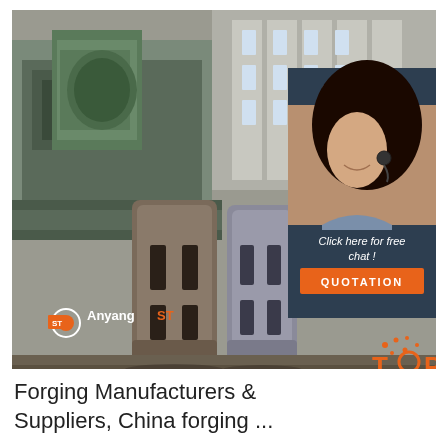[Figure (photo): Industrial forging facility photo showing large metal forged parts (cylindrical/block-shaped steel components) in foreground with heavy machinery in background. Overlaid with a dark blue panel showing '24/7 Online' customer service agent and 'Click here for free chat!' with an orange QUOTATION button. Anyang ST logo visible at bottom left. Orange TOP badge at bottom right.]
Forging Manufacturers & Suppliers, China forging ...